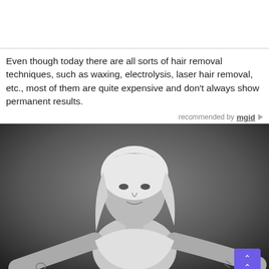[Figure (other): White/blank top image area with bottom border line]
Even though today there are all sorts of hair removal techniques, such as waxing, electrolysis, laser hair removal, etc., most of them are quite expensive and don't always show permanent results.
recommended by mgid
[Figure (photo): Black and white photo of a young blonde woman wearing a white sports bra, posing with arms spread out, looking directly at the camera. A scroll-to-top button (purple) is overlaid in the bottom right corner.]